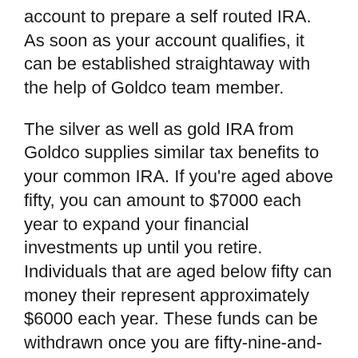account to prepare a self routed IRA. As soon as your account qualifies, it can be established straightaway with the help of Goldco team member.
The silver as well as gold IRA from Goldco supplies similar tax benefits to your common IRA. If you're aged above fifty, you can amount to $7000 each year to expand your financial investments up until you retire. Individuals that are aged below fifty can money their represent approximately $6000 each year. These funds can be withdrawn once you are fifty-nine-and-a-half years of ages, with no charge costs being used.
To organize your rare-earth element self routed IRA, go to the official site for Goldco